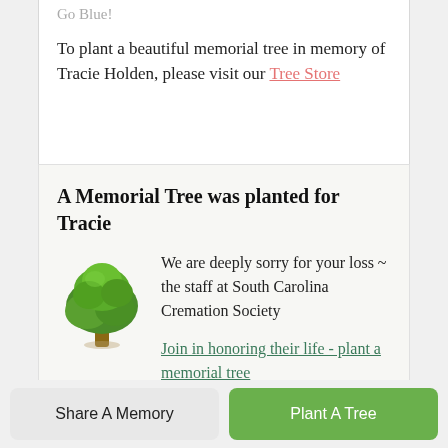Go Blue!
To plant a beautiful memorial tree in memory of Tracie Holden, please visit our Tree Store
A Memorial Tree was planted for Tracie
[Figure (illustration): Green tree illustration representing a memorial tree]
We are deeply sorry for your loss ~ the staff at South Carolina Cremation Society
Join in honoring their life - plant a memorial tree
Share A Memory
Plant A Tree